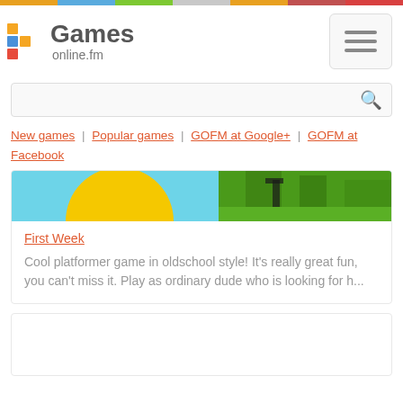[Figure (logo): Games online.fm logo with pixel grid icon]
[Figure (other): Hamburger menu button]
[Figure (other): Search bar with magnifying glass icon]
New games | Popular games | GOFM at Google+ | GOFM at Facebook
[Figure (photo): Game banner image showing colorful platformer scene with yellow sun, blue sky, and green terrain]
First Week
Cool platformer game in oldschool style! It's really great fun, you can't miss it. Play as ordinary dude who is looking for h...
[Figure (other): Second game card (partial, empty)]